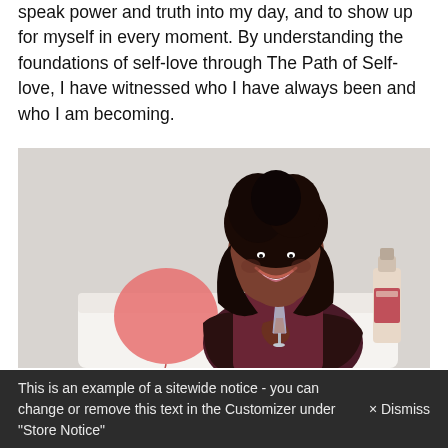speak power and truth into my day, and to show up for myself in every moment. By understanding the foundations of self-love through The Path of Self-love, I have witnessed who I have always been and who I am becoming.
[Figure (photo): A smiling Black woman with long braided hair piled up, wearing a dark burgundy/maroon outfit and leather jacket, sitting on a white couch, holding a tall champagne flute. A pink balloon is visible to her left and a bottle of wine/champagne is to her right on a surface. The background is a light grey/white studio setting.]
This is an example of a sitewide notice - you can change or remove this text in the Customizer under "Store Notice"  × Dismiss